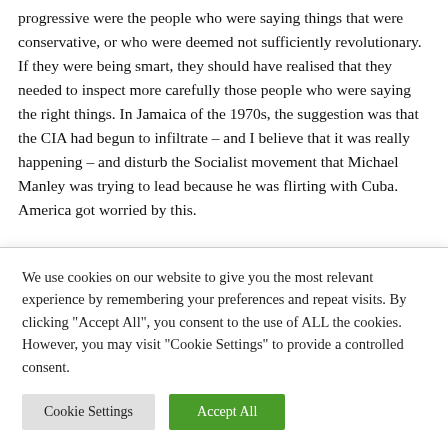progressive were the people who were saying things that were conservative, or who were deemed not sufficiently revolutionary. If they were being smart, they should have realised that they needed to inspect more carefully those people who were saying the right things. In Jamaica of the 1970s, the suggestion was that the CIA had begun to infiltrate – and I believe that it was really happening – and disturb the Socialist movement that Michael Manley was trying to lead because he was flirting with Cuba. America got worried by this.

Anyway, I address these things fairly directly through many of the poems I wrote in the late '60s and early '70s. Different
We use cookies on our website to give you the most relevant experience by remembering your preferences and repeat visits. By clicking "Accept All", you consent to the use of ALL the cookies. However, you may visit "Cookie Settings" to provide a controlled consent.